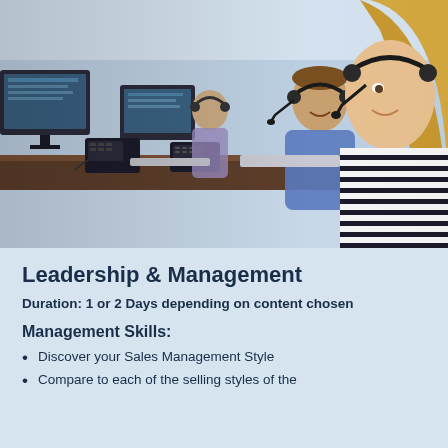[Figure (photo): Call center workers wearing headsets, sitting at desks with computers and phones in a row. A woman in a black-and-white striped shirt is in the foreground on the right, a man in a blue shirt is in the center, and additional workers are visible in the background.]
Leadership & Management
Duration: 1 or 2 Days depending on content chosen
Management Skills:
Discover your Sales Management Style
Compare to each of the selling styles of the